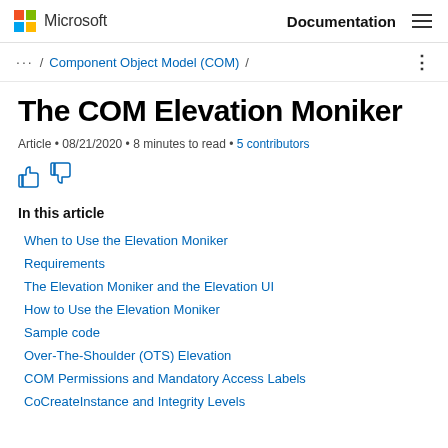Microsoft Documentation
... / Component Object Model (COM) /
The COM Elevation Moniker
Article • 08/21/2020 • 8 minutes to read • 5 contributors
In this article
When to Use the Elevation Moniker
Requirements
The Elevation Moniker and the Elevation UI
How to Use the Elevation Moniker
Sample code
Over-The-Shoulder (OTS) Elevation
COM Permissions and Mandatory Access Labels
CoCreateInstance and Integrity Levels